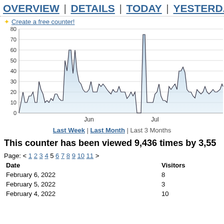OVERVIEW | DETAILS | TODAY | YESTERDAY |
✦ Create a free counter!
[Figure (area-chart): Area chart showing daily visitors over ~3 months with peaks around 70 in late May/early June, 74 in early July, and 55 in late July. Y-axis 0-80. X-axis labels: Jun, Jul.]
Last Week | Last Month | Last 3 Months
This counter has been viewed 9,436 times by 3,55
Page: < 1 2 3 4 5 6 7 8 9 10 11 >
| Date | Visitors |
| --- | --- |
| February 6, 2022 | 8 |
| February 5, 2022 | 3 |
| February 4, 2022 | 10 |